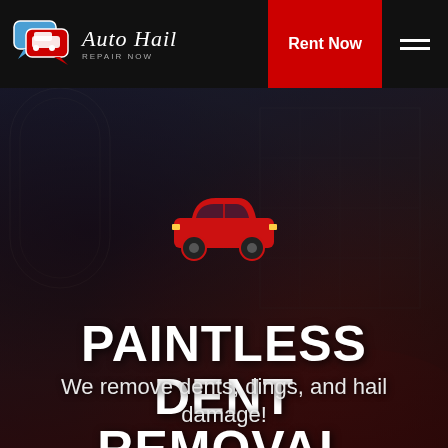[Figure (screenshot): Auto Hail Repair Now logo with car chat bubble icons and cursive text]
Rent Now
[Figure (illustration): Red car silhouette icon centered on dark background hero image]
PAINTLESS DENT REMOVAL SHOPS ALVATON KENTUCKY
We remove dents, dings, and hail damage!